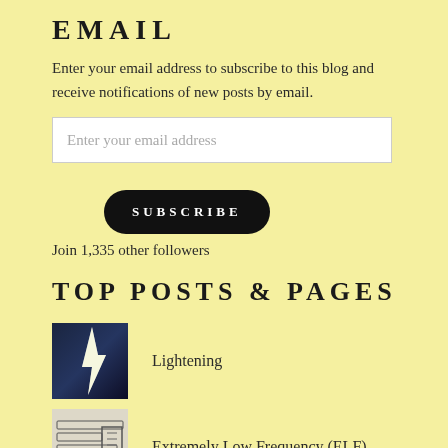EMAIL
Enter your email address to subscribe to this blog and receive notifications of new posts by email.
Enter your email address
SUBSCRIBE
Join 1,335 other followers
TOP POSTS & PAGES
[Figure (photo): Lightning bolt against dark stormy sky]
Lightening
[Figure (illustration): Diagram related to Extremely Low Frequency (ELF)]
Extremely Low Frequency (ELF)
[Figure (photo): Dark image related to The Forbidden Zone]
The Forbidden Zone